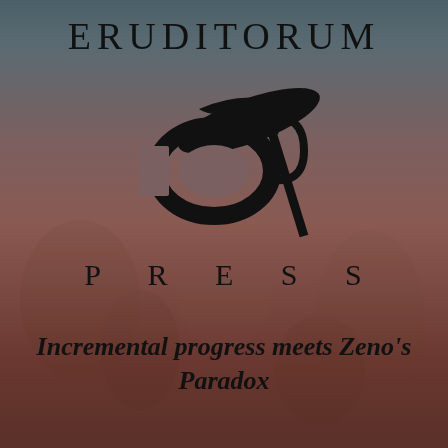[Figure (logo): Eruditorum Press logo page with stylized EP monogram logo on a dark muted background with faint figures. Text reads ERUDITORUM at top, stylized EP logo in center, PRESS below, and italic tagline at bottom.]
ERUDITORUM
P R E S S
Incremental progress meets Zeno's Paradox